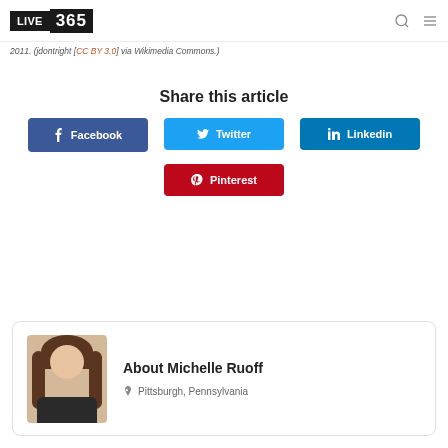LIVE 365
2011. (jdontright [CC BY 3.0] via Wikimedia Commons.)
Share this article
Facebook
Twitter
Linkedin
Pinterest
About Michelle Ruoff
Pittsburgh, Pennsylvania